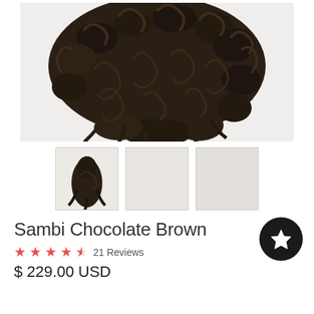[Figure (photo): Main product photo of Sambi Chocolate Brown curly hair extensions/wig on a white background. The hair is dark brown with tight curls.]
[Figure (photo): Three thumbnail images below the main product photo. First thumbnail shows a small curly hair bundle, second and third are lighter/blank placeholders.]
Sambi Chocolate Brown
[Figure (other): Black circular wishlist/favorite button with a white star icon]
★★★★½ 21 Reviews
$ 229.00 USD